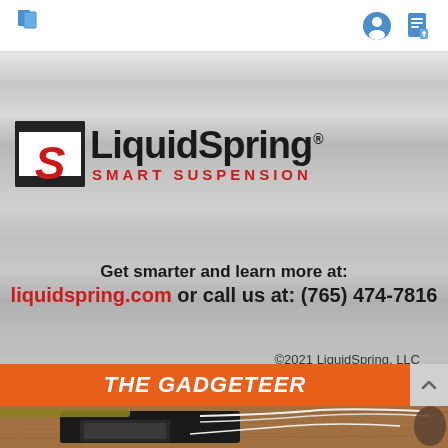Navigation bar with book icon and user/document icons
[Figure (logo): LiquidSpring Smart Suspension logo with metallic S mark and wordmark on brushed metal background]
Get smarter and learn more at: liquidspring.com or call us at: (765) 474-7816
©2021 LiquidSpring, LLC
THE GADGETEER
[Figure (photo): Photo of electronic devices, tablet, and cables on a wooden surface]